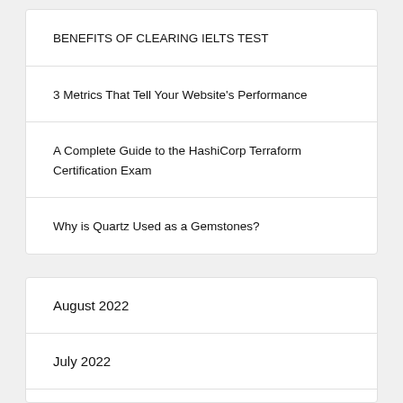BENEFITS OF CLEARING IELTS TEST
3 Metrics That Tell Your Website's Performance
A Complete Guide to the HashiCorp Terraform Certification Exam
Why is Quartz Used as a Gemstones?
August 2022
July 2022
June 2022
May 2022